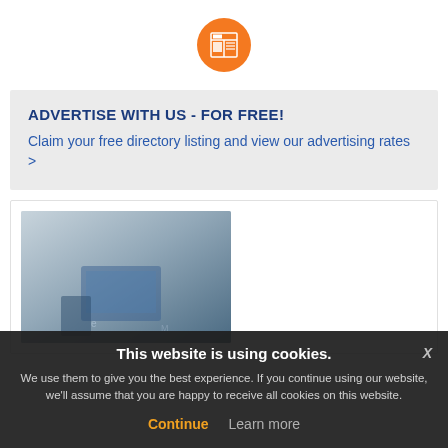[Figure (logo): Orange circle with white newspaper/layout icon]
ADVERTISE WITH US - FOR FREE!
Claim your free directory listing and view our advertising rates >
[Figure (photo): Product image with blue device on grey gradient background]
This website is using cookies. We use them to give you the best experience. If you continue using our website, we'll assume that you are happy to receive all cookies on this website.
Continue   Learn more